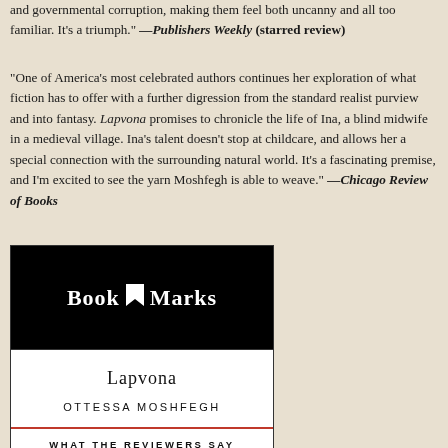and governmental corruption, making them feel both uncanny and all too familiar. It's a triumph." —Publishers Weekly (starred review)
"One of America's most celebrated authors continues her exploration of what fiction has to offer with a further digression from the standard realist purview and into fantasy. Lapvona promises to chronicle the life of Ina, a blind midwife in a medieval village. Ina's talent doesn't stop at childcare, and allows her a special connection with the surrounding natural world. It's a fascinating premise, and I'm excited to see the yarn Moshfegh is able to weave." —Chicago Review of Books
[Figure (logo): Book Marks logo — white text on black background with a bookmark icon]
Lapvona
OTTESSA MOSHFEGH
WHAT THE REVIEWERS SAY